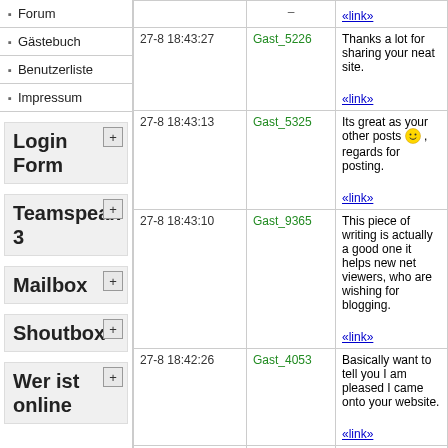Forum
Gästebuch
Benutzerliste
Impressum
Login Form
Teamspeak 3
Mailbox
Shoutbox
Wer ist online
| Date | User | Message |
| --- | --- | --- |
|  |  | – «link» |
| 27-8 18:43:27 | Gast_5226 | Thanks a lot for sharing your neat site. «link» |
| 27-8 18:43:13 | Gast_5325 | Its great as your other posts 😊 , regards for posting. «link» |
| 27-8 18:43:10 | Gast_9365 | This piece of writing is actually a good one it helps new net viewers, who are wishing for blogging. «link» |
| 27-8 18:42:26 | Gast_4053 | Basically want to tell you I am pleased I came onto your website. «link» |
|  |  | Hello mates, how is everything, and what you wish for to say about this piece of |